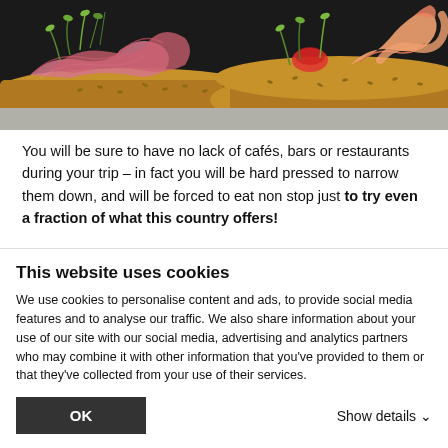[Figure (photo): Close-up photo of bruschetta or open-faced sandwiches topped with cured meats (prosciutto), shrimp, and fresh greens on rustic bread, dark background]
You will be sure to have no lack of cafés, bars or restaurants during your trip – in fact you will be hard pressed to narrow them down, and will be forced to eat non stop just to try even a fraction of what this country offers!
Which is why Tapas are the perfect solution! Small portions of hundreds of varieties (ranging from anything from seafood and
This website uses cookies
We use cookies to personalise content and ads, to provide social media features and to analyse our traffic. We also share information about your use of our site with our social media, advertising and analytics partners who may combine it with other information that you've provided to them or that they've collected from your use of their services.
OK
Show details